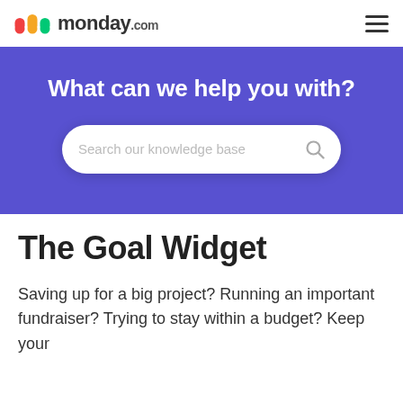[Figure (logo): monday.com logo with colored stripes icon and bold wordmark]
[Figure (screenshot): Hamburger menu icon (three horizontal lines)]
What can we help you with?
[Figure (screenshot): Search bar with placeholder text 'Search our knowledge base' and a magnifying glass icon]
The Goal Widget
Saving up for a big project? Running an important fundraiser? Trying to stay within a budget? Keep your